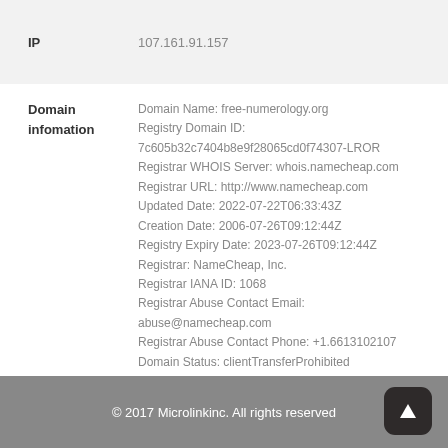| Field | Value |
| --- | --- |
| IP | 107.161.91.157 |
Domain Name: free-numerology.org
Registry Domain ID: 7c605b32c7404b8e9f28065cd0f74307-LROR
Registrar WHOIS Server: whois.namecheap.com
Registrar URL: http://www.namecheap.com
Updated Date: 2022-07-22T06:33:43Z
Creation Date: 2006-07-26T09:12:44Z
Registry Expiry Date: 2023-07-26T09:12:44Z
Registrar: NameCheap, Inc.
Registrar IANA ID: 1068
Registrar Abuse Contact Email: abuse@namecheap.com
Registrar Abuse Contact Phone: +1.6613102107
Domain Status: clientTransferProhibited
https://icann.org/epp#clientTransferProhibited
Registry Registrant ID: REDACTED FOR PRIVACY
Registrant Name: REDACTED FOR PRIVACY
© 2017 Microlinkinc. All rights reserved